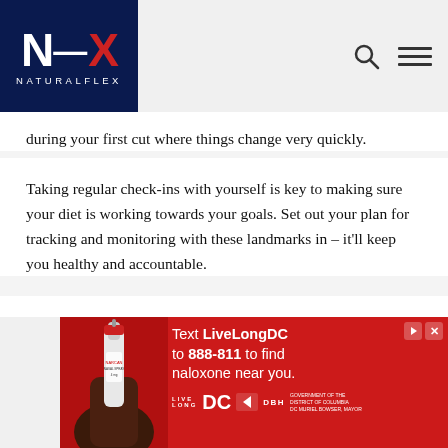NATURALFLEX
during your first cut where things change very quickly.
Taking regular check-ins with yourself is key to making sure your diet is working towards your goals. Set out your plan for tracking and monitoring with these landmarks in – it'll keep you healthy and accountable.
Avoid fluff workouts and set simple priorities
[Figure (other): Red advertisement banner: Text LiveLongDC to 888-811 to find naloxone near you. Features a hand holding a nasal spray. Logos for LiveLong DC, DBH, and Government of the District of Columbia, DC Muriel Bowser, Mayor.]